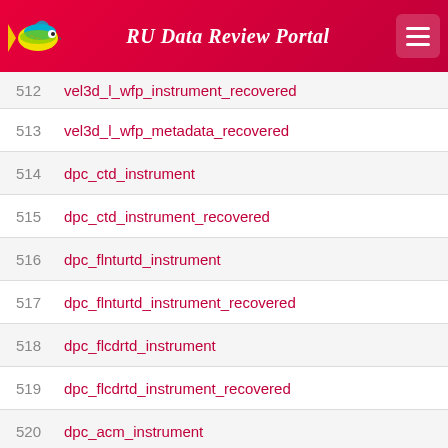RU Data Review Portal
512  vel3d_l_wfp_instrument_recovered
513  vel3d_l_wfp_metadata_recovered
514  dpc_ctd_instrument
515  dpc_ctd_instrument_recovered
516  dpc_flnturtd_instrument
517  dpc_flnturtd_instrument_recovered
518  dpc_flcdrtd_instrument
519  dpc_flcdrtd_instrument_recovered
520  dpc_acm_instrument
521  dpc_acm_instrument_recovered
522  dpc_optode_instrument